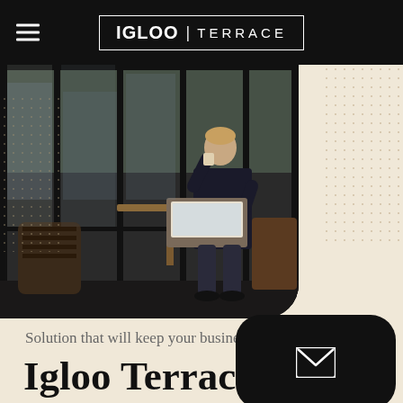IGLOO TERRACE
[Figure (photo): Man in suit sitting at an outdoor table inside a glass terrace enclosure, working on a laptop and drinking coffee]
Solution that will keep your busine
Igloo Terrace